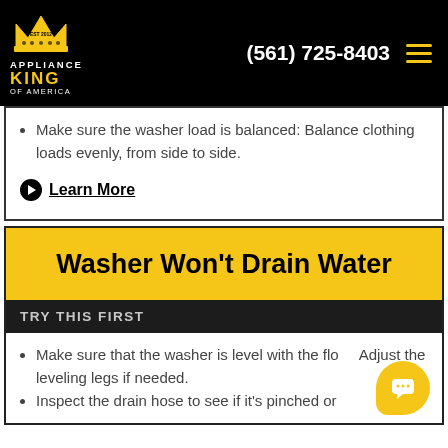[Figure (logo): Appliance King of America logo with crown icon, white text, yellow KING text on black background]
(561) 725-8403
Make sure the washer load is balanced: Balance clothing loads evenly, from side to side.
Learn More
Washer Won't Drain Water
TRY THIS FIRST
Make sure that the washer is level with the floor. Adjust the leveling legs if needed.
Inspect the drain hose to see if it's pinched or